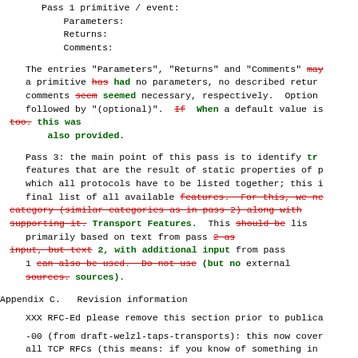Pass 1 primitive / event:
    Parameters:
    Returns:
    Comments:
The entries "Parameters", "Returns" and "Comments" may be omitted if a primitive has had no parameters, no described return value, and comments seem seemed necessary, respectively. Optional parameters are followed by "(optional)". If When a default value is provided too. this was also provided.
Pass 3: the main point of this pass is to identify transport features that are the result of static properties of protocols, which all protocols have to be listed together; this is the final list of all available features. For this, we need a category (similar categories as in pass 2) along with protocols supporting it. Transport Features. This should be listed primarily based on text from pass 2 as input, but text 2, with additional input from pass 1 can also be used. Do not use (but no external sources. sources).
Appendix C.  Revision information
XXX RFC-Ed please remove this section prior to publication
-00 (from draft-welzl-taps-transports): this now covers all TCP RFCs (this means: if you know of something in that you think should be addressed, please speak up!)